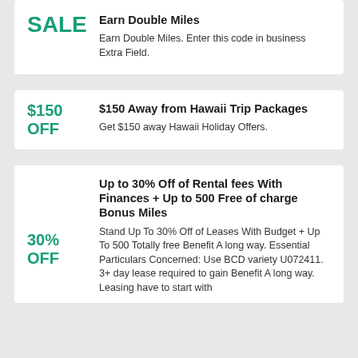Earn Double Miles
Earn Double Miles. Enter this code in business Extra Field.
$150 Away from Hawaii Trip Packages
Get $150 away Hawaii Holiday Offers.
Up to 30% Off of Rental fees With Finances + Up to 500 Free of charge Bonus Miles
Stand Up To 30% Off of Leases With Budget + Up To 500 Totally free Benefit A long way. Essential Particulars Concerned: Use BCD variety U072411. 3+ day lease required to gain Benefit A long way. Leasing have to start with